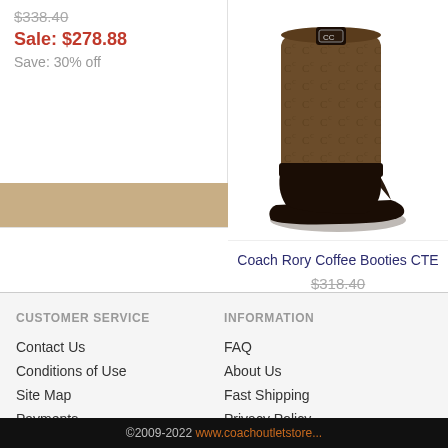$338.40 (strikethrough)
Sale: $278.88
Save: 30% off
[Figure (photo): Coach wedge bootie in brown signature fabric with leather trim, side view]
Coach Rory Coffee Booties CTE
$318.40 (strikethrough)
Sale: $222.88
Save: 30% off
Buy it Now
Coach Da...
S...
CUSTOMER SERVICE
Contact Us
Conditions of Use
Site Map
Payments
INFORMATION
FAQ
About Us
Fast Shipping
Privacy Policy
©2009-2022 www.coachoutletstore...